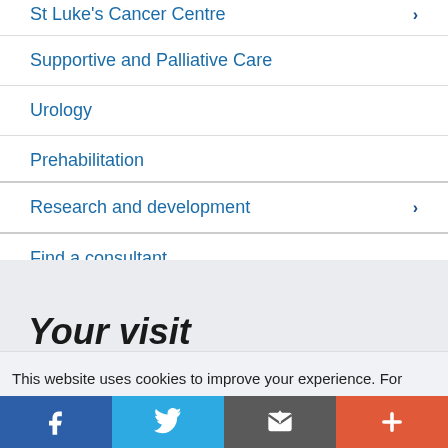St Luke's Cancer Centre ›
Supportive and Palliative Care
Urology
Prehabilitation
Research and development ›
Find a consultant
Your visit
This website uses cookies to improve your experience. For